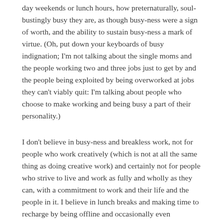day weekends or lunch hours, how preternaturally, soul-bustingly busy they are, as though busy-ness were a sign of worth, and the ability to sustain busy-ness a mark of virtue. (Oh, put down your keyboards of busy indignation; I'm not talking about the single moms and the people working two and three jobs just to get by and the people being exploited by being overworked at jobs they can't viably quit: I'm talking about people who choose to make working and being busy a part of their personality.)
I don't believe in busy-ness and breakless work, not for people who work creatively (which is not at all the same thing as doing creative work) and certainly not for people who strive to live and work as fully and wholly as they can, with a commitment to work and their life and the people in it. I believe in lunch breaks and making time to recharge by being offline and occasionally even